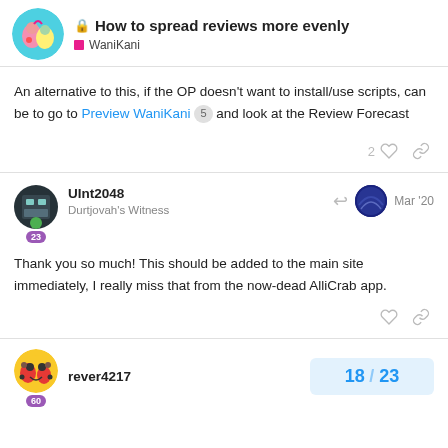🔒 How to spread reviews more evenly | WaniKani
An alternative to this, if the OP doesn't want to install/use scripts, can be to go to Preview WaniKani 5 and look at the Review Forecast
2 ♡ 🔗
UInt2048
Durtjovah's Witness
Mar '20
Thank you so much! This should be added to the main site immediately, I really miss that from the now-dead AlliCrab app.
♡ 🔗
rever4217
18 / 23